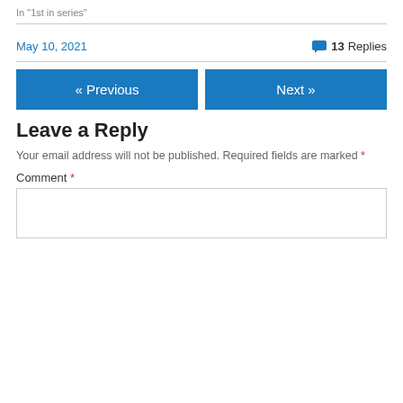In "1st in series"
May 10, 2021  13 Replies
« Previous
Next »
Leave a Reply
Your email address will not be published. Required fields are marked *
Comment *